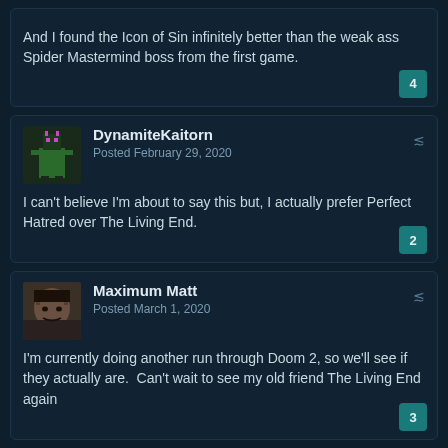And I found the Icon of Sin infinitely better than the weak ass Spider Mastermind boss from the first game.
DynamiteKaitorn
Posted February 29, 2020
I can't believe I'm about to say this but, I actually prefer Perfect Hatred over The Living End.
Maximum Matt
Posted March 1, 2020
I'm currently doing another run through Doom 2, so we'll see if they actually are.  Can't wait to see my old friend The Living End again